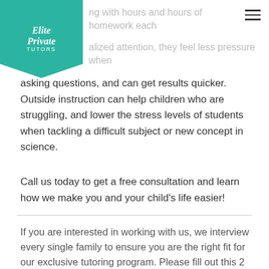[Figure (logo): Elite Private Tutors logo — teal banner/pennant shape with white script text reading 'Elite Private Tutors']
ing with hours and hours of homework each
alized attention, they feel less pressure when asking questions, and can get results quicker. Outside instruction can help children who are struggling, and lower the stress levels of students when tackling a difficult subject or new concept in science.
Call us today to get a free consultation and learn how we make you and your child's life easier!
If you are interested in working with us, we interview every single family to ensure you are the right fit for our exclusive tutoring program. Please fill out this 2 minute application to request a time to discuss your needs. If you are the right fit